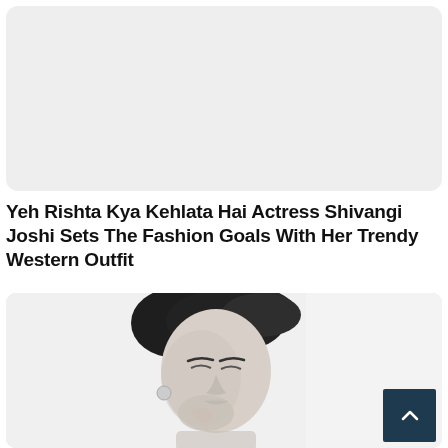[Figure (photo): Light gray rounded rectangle placeholder image at top of page]
Yeh Rishta Kya Kehlata Hai Actress Shivangi Joshi Sets The Fashion Goals With Her Trendy Western Outfit
[Figure (photo): Black and white portrait photo of Shivangi Joshi, looking down with hand near face, dark hair up, wearing earring]